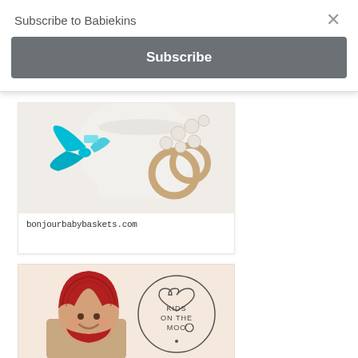Subscribe to Babiekins
×
Subscribe
[Figure (photo): Baby gift basket with teal ribbon bow on a white felt bag, with wooden teething rings and white beads on a white background. URL text: bonjourbabybaskets.com]
[Figure (photo): Child wearing a chunky red knit hat/balaclava, smiling. Next to the photo is a circular logo with a heart, reading KIDS ON THE MOON]